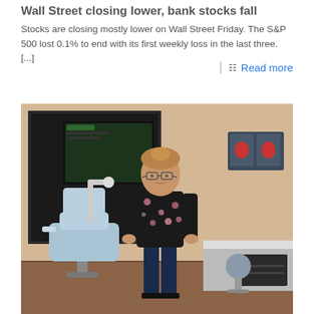Wall Street closing lower, bank stocks fall
Stocks are closing mostly lower on Wall Street Friday. The S&P 500 lost 0.1% to end with its first weekly loss in the last three. [...]
Read more
[Figure (photo): A woman in a floral blouse standing in a dental office next to a dental chair, with a large monitor visible in the background and dental cabinetry on the right.]